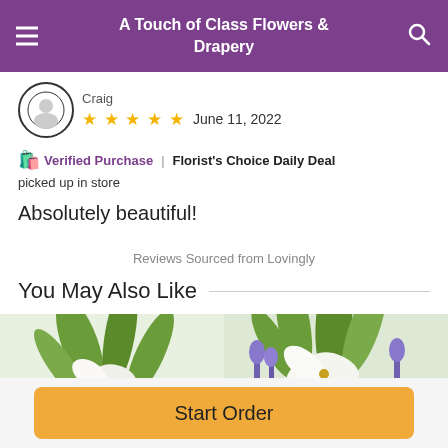A Touch of Class Flowers & Drapery
★★★★★  June 11, 2022
Verified Purchase | Florist's Choice Daily Deal picked up in store
Absolutely beautiful!
Reviews Sourced from Lovingly
You May Also Like
[Figure (photo): Two flower arrangement images side by side — white lilies and roses on the left, white lilies with purple lavender on the right]
Start Order